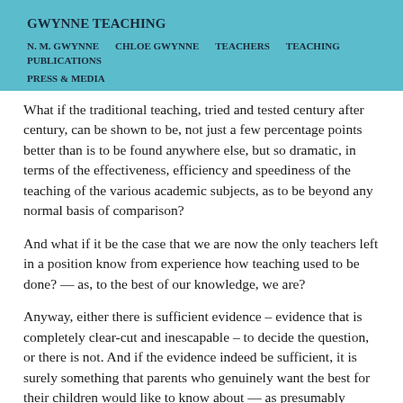GWYNNE TEACHING
N. M. GWYNNE   CHLOE GWYNNE   TEACHERS   TEACHING   PUBLICATIONS   PRESS & MEDIA
What if the traditional teaching, tried and tested century after century, can be shown to be, not just a few percentage points better than is to be found anywhere else, but so dramatic, in terms of the effectiveness, efficiency and speediness of the teaching of the various academic subjects, as to be beyond any normal basis of comparison?
And what if it be the case that we are now the only teachers left in a position know from experience how teaching used to be done? — as, to the best of our knowledge, we are?
Anyway, either there is sufficient evidence – evidence that is completely clear-cut and inescapable – to decide the question, or there is not. And if the evidence indeed be sufficient, it is surely something that parents who genuinely want the best for their children would like to know about — as presumably should if